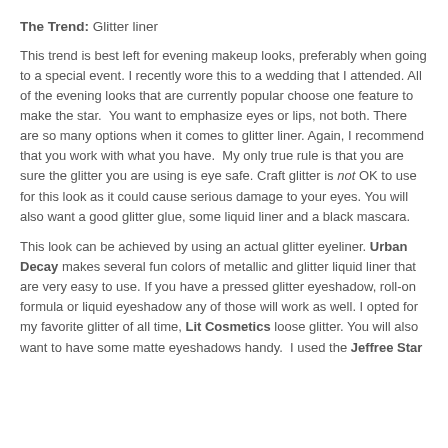The Trend: Glitter liner
This trend is best left for evening makeup looks, preferably when going to a special event. I recently wore this to a wedding that I attended. All of the evening looks that are currently popular choose one feature to make the star.  You want to emphasize eyes or lips, not both. There are so many options when it comes to glitter liner. Again, I recommend that you work with what you have.  My only true rule is that you are sure the glitter you are using is eye safe. Craft glitter is not OK to use for this look as it could cause serious damage to your eyes. You will also want a good glitter glue, some liquid liner and a black mascara.
This look can be achieved by using an actual glitter eyeliner. Urban Decay makes several fun colors of metallic and glitter liquid liner that are very easy to use. If you have a pressed glitter eyeshadow, roll-on formula or liquid eyeshadow any of those will work as well. I opted for my favorite glitter of all time, Lit Cosmetics loose glitter. You will also want to have some matte eyeshadows handy.  I used the Jeffree Star